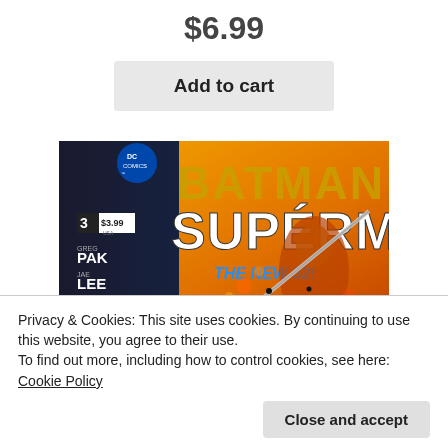$6.99
Add to cart
[Figure (photo): Batman Superman The New 52 comic book cover issue 3, price $3.99, by Greg Pak, Jae Lee, Yildiray Cinar, DC Comics logo visible]
Privacy & Cookies: This site uses cookies. By continuing to use this website, you agree to their use.
To find out more, including how to control cookies, see here: Cookie Policy
Close and accept